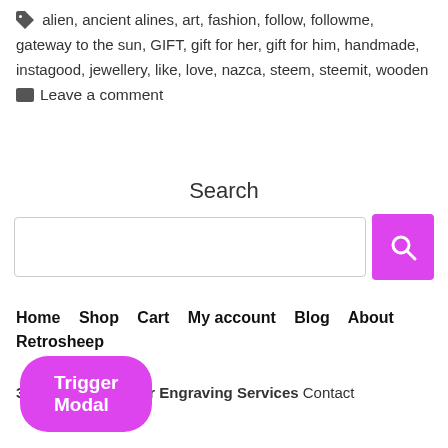alien, ancient alines, art, fashion, follow, followme, gateway to the sun, GIFT, gift for her, gift for him, handmade, instagood, jewellery, like, love, nazca, steem, steemit, wooden
Leave a comment
Search
[Figure (other): Search bar with text input and magenta search button]
Home   Shop   Cart   My account   Blog   About Retrosheep
3D Printing & Laser Engraving Services  Contact
Trigger Modal